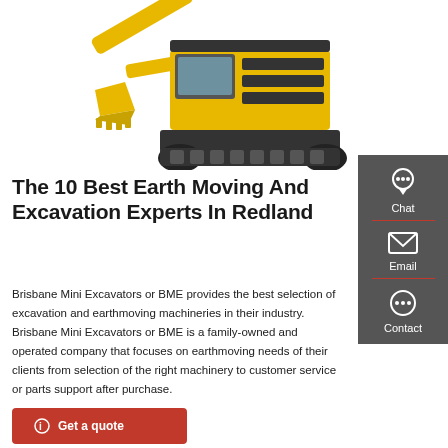[Figure (photo): Yellow excavator/earth-moving machine photographed against a white background, showing the boom arm with bucket on the left and the tracked body/cab on the right.]
The 10 Best Earth Moving And Excavation Experts In Redland
Brisbane Mini Excavators or BME provides the best selection of excavation and earthmoving machineries in their industry. Brisbane Mini Excavators or BME is a family-owned and operated company that focuses on earthmoving needs of their clients from selection of the right machinery to customer service or parts support after purchase.